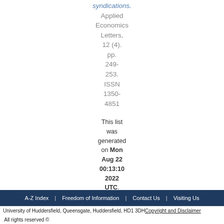syndications. Applied Economics Letters, 12 (4). pp. 249-253. ISSN 1350-4851
This list was generated on Mon Aug 22 00:13:10 2022 UTC.
A-Z Index | Freedom of Information | Contact Us | Visiting Us
University of Huddersfield, Queensgate, Huddersfield, HD1 3DH Copyright and Disclaimer All rights reserved ©